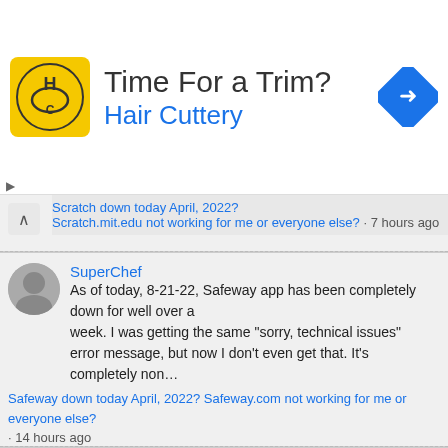[Figure (infographic): Hair Cuttery advertisement banner with yellow logo, title 'Time For a Trim?' and blue navigation arrow icon]
Scratch down today April, 2022? Scratch.mit.edu not working for me or everyone else? · 7 hours ago
SuperChef
As of today, 8-21-22, Safeway app has been completely down for well over a week. I was getting the same "sorry, technical issues" error message, but now I don't even get that. It's completely non…
Safeway down today April, 2022? Safeway.com not working for me or everyone else? · 14 hours ago
Demon Gurl
ikr. pls now.gg my yt channel is gonna be dead if no one fixes this
Now down today April, 2022? Now.gg not working for me or everyone else? · 15 hours ago